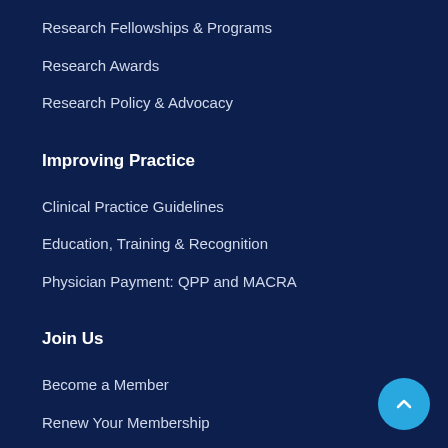Research Fellowships & Programs
Research Awards
Research Policy & Advocacy
Improving Practice
Clinical Practice Guidelines
Education, Training & Recognition
Physician Payment: QPP and MACRA
Join Us
Become a Member
Renew Your Membership
DocMatter Community
Become a Member Leader